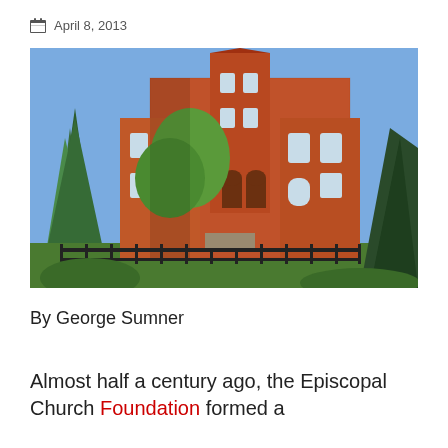April 8, 2013
[Figure (photo): Exterior photograph of a large red-brick Victorian-era building, likely a church or school, surrounded by evergreen and deciduous trees with a wrought-iron fence in the foreground, taken on a clear sunny day.]
By George Sumner
Almost half a century ago, the Episcopal Church Foundation formed a